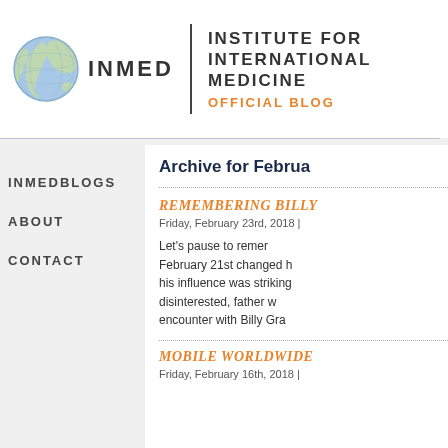[Figure (logo): INMED globe logo with text 'INSTITUTE FOR INTERNATIONAL MEDICINE OFFICIAL BLOG']
INMEDBLOGS
ABOUT
CONTACT
Archive for Februa...
REMEMBERING BILLY...
Friday, February 23rd, 2018 |
Let's pause to remer... February 21st changed h... his influence was striking... disinterested, father w... encounter with Billy Gra...
MOBILE WORLDWIDE...
Friday, February 16th, 2018 |